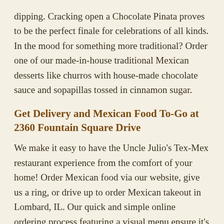dipping. Cracking open a Chocolate Pinata proves to be the perfect finale for celebrations of all kinds. In the mood for something more traditional? Order one of our made-in-house traditional Mexican desserts like churros with house-made chocolate sauce and sopapillas tossed in cinnamon sugar.
Get Delivery and Mexican Food To-Go at 2360 Fountain Square Drive
We make it easy to have the Uncle Julio's Tex-Mex restaurant experience from the comfort of your home! Order Mexican food via our website, give us a ring, or drive up to order Mexican takeout in Lombard, IL. Our quick and simple online ordering process featuring a visual menu ensure it's easy to order hot and fresh authentic Mexican food in Lombard, IL. Many Uncle Julio's locations also offer Mexican food delivery.
Ordering in for four or more? Satisfy your crew of 4-6's appetite with two full pounds of our made-in-house